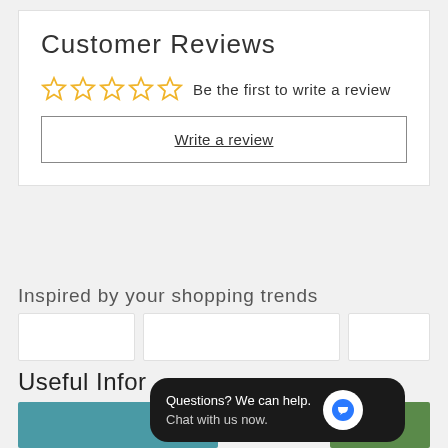Customer Reviews
Be the first to write a review
Write a review
Inspired by your shopping trends
Useful Infor
[Figure (screenshot): Chat popup overlay with text 'Questions? We can help. Chat with us now.' and blue chat bubble icon on dark background]
[Figure (photo): Partial view of teal/blue product image at bottom left]
[Figure (photo): Partial view of green product image at bottom right]